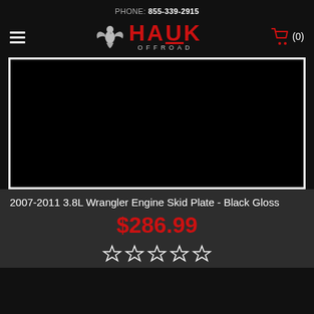PHONE: 855-339-2915
[Figure (logo): Hauk Offroad logo with eagle and red text]
[Figure (photo): Product photo region — black background, product image area]
2007-2011 3.8L Wrangler Engine Skid Plate - Black Gloss
$286.99
[Figure (other): 5 empty star rating icons]